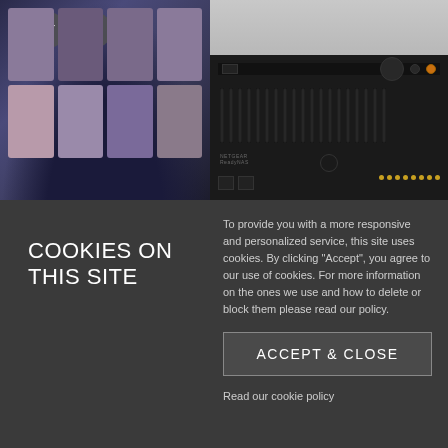[Figure (screenshot): Top half of page showing two images: left image shows a media app grid interface on a dark background with download/share icon circles; right image shows a NETGEAR rack-mounted network device in gray/black]
COOKIES ON THIS SITE
To provide you with a more responsive and personalized service, this site uses cookies. By clicking "Accept", you agree to our use of cookies. For more information on the ones we use and how to delete or block them please read our policy.
ACCEPT & CLOSE
Read our cookie policy